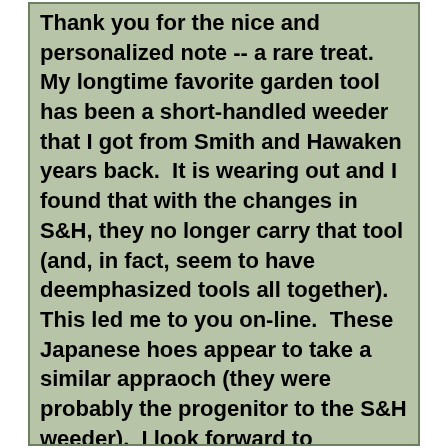Thank you for the nice and personalized note -- a rare treat.   My longtime favorite garden tool has been a short-handled weeder that I got from Smith and Hawaken years back.  It is wearing out and I found that with the changes in S&H, they no longer carry that tool (and, in fact, seem to have deemphasized tools all together).  This led me to you on-line.  These Japanese hoes appear to take a similar appraoch (they were probably the progenitor to the S&H weeder).  I look forward to